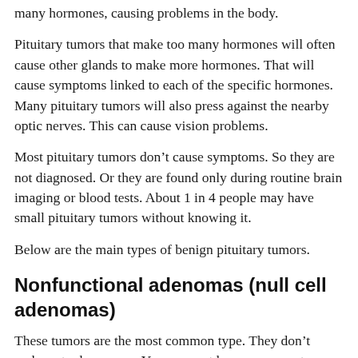many hormones, causing problems in the body.
Pituitary tumors that make too many hormones will often cause other glands to make more hormones. That will cause symptoms linked to each of the specific hormones. Many pituitary tumors will also press against the nearby optic nerves. This can cause vision problems.
Most pituitary tumors don’t cause symptoms. So they are not diagnosed. Or they are found only during routine brain imaging or blood tests. About 1 in 4 people may have small pituitary tumors without knowing it.
Below are the main types of benign pituitary tumors.
Nonfunctional adenomas (null cell adenomas)
These tumors are the most common type. They don’t make extra hormones. You may not have any symptoms until the tumor is a certain size. When the tumor is big enough, it may cause headaches and vision problems.